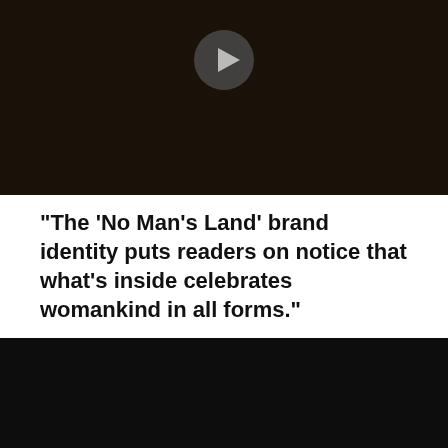[Figure (screenshot): Dark video thumbnail with a play button icon centered at the top]
“The ‘No Man’s Land’ brand identity puts readers on notice that what’s inside celebrates womankind in all forms.”
Learn more about the project
[Figure (screenshot): Dark video thumbnail showing a magazine cover with 'NO MAN'S LAND' text in yellow on a tan/brown background with a person's silhouette]